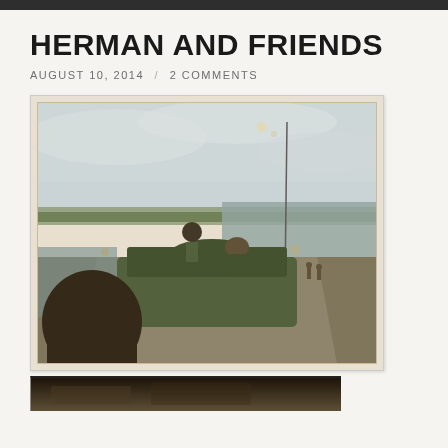HERMAN AND FRIENDS
AUGUST 10, 2014 / 2 COMMENTS
[Figure (photo): Old color photograph of military soldiers riding on top of an armored personnel carrier (APC/tank) moving along a narrow road or causeway beside a body of water. One soldier stands upright on the vehicle. A person in the foreground has their back to the camera. Flat landscape with trees in the background. Sky is overcast. Photo has aging spots and creases typical of a vintage print.]
[Figure (photo): Partial view of a second old photograph, showing the top edge — dark and brownish tones, partially cropped at the bottom of the page.]